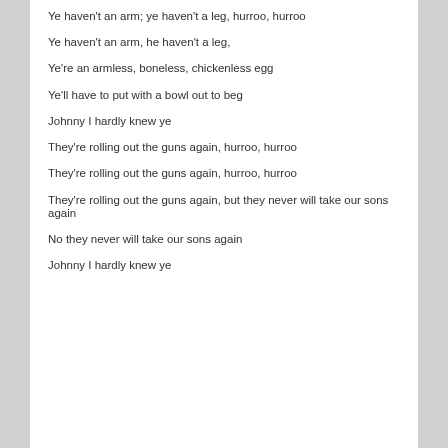Ye haven't an arm; ye haven't a leg, hurroo, hurroo
Ye haven't an arm, he haven't a leg,
Ye're an armless, boneless, chickenless egg
Ye'll have to put with a bowl out to beg
Johnny I hardly knew ye
They're rolling out the guns again, hurroo, hurroo
They're rolling out the guns again, hurroo, hurroo
They're rolling out the guns again, but they never will take our sons again
No they never will take our sons again
Johnny I hardly knew ye